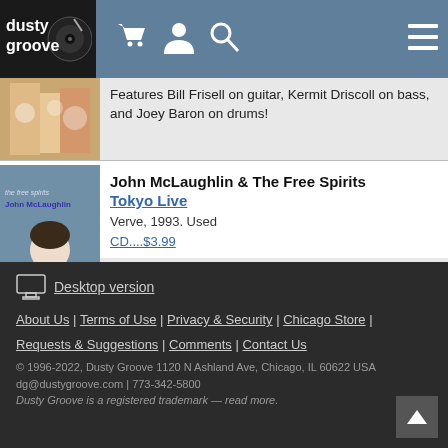dusty groove — navigation header with cart, profile, search, and menu icons
Features Bill Frisell on guitar, Kermit Driscoll on bass, and Joey Baron on drums!
John McLaughlin & The Free Spirits
Tokyo Live
Verve, 1993. Used
CD....$3.99
With Joey DeFrancesco on keys and organ, Dennis Chambers on drums, and McLaughlin on guitar.
Desktop version | About Us | Terms of Use | Privacy & Security | Chicago Store | Requests & Suggestions | Comments | Contact Us | © 1996-2022, Dusty Groove 1120 N Ashland Ave, Chicago, IL 60622 USA | dg@dustygroove.com | 773-342-5800 | Dusty Groove is a registered trademark — read more.